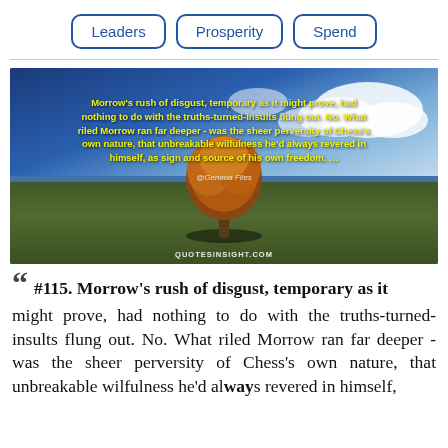Leaders | Prosperity | Spend
[Figure (photo): Outdoor nature photo of a lone tree with autumn/orange foliage against a blue sky with white clouds and green grass, overlaid with yellow bold quote text and attribution '@Gemma Files' and watermark 'QUOTESINSIGHT.COM']
““ #115. Morrow's rush of disgust, temporary as it might prove, had nothing to do with the truths-turned-insults flung out. No. What riled Morrow ran far deeper - was the sheer perversity of Chess's own nature, that unbreakable wilfulness he'd always revered in himself,